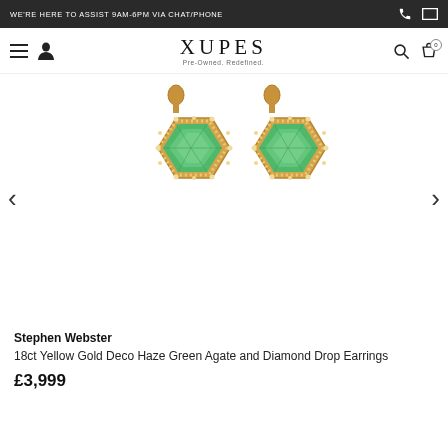WE'RE HERE TO ASSIST 9AM-6PM VIA CHAT/PHONE
[Figure (logo): XUPES logo with tagline Pre-Owned. Redefined.]
[Figure (photo): Pair of Stephen Webster 18ct Yellow Gold Deco Haze Green Agate and Diamond Drop Earrings — two hexagonal green agate stones in gold diamond-set frames with drop fittings.]
Stephen Webster
18ct Yellow Gold Deco Haze Green Agate and Diamond Drop Earrings
£3,999